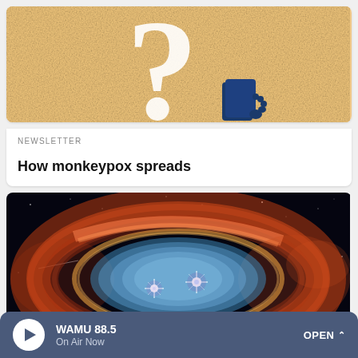[Figure (illustration): Newsletter card header image with sandy/tan textured background featuring a large white question mark and a small dark blue illustration of a person's hand/figure at the bottom right]
NEWSLETTER
How monkeypox spreads
[Figure (photo): Space nebula photograph taken by the James Webb Space Telescope showing the Southern Ring Nebula — a blue glowing ring-shaped nebula surrounded by orange-red gas clouds against a black starfield]
WAMU 88.5 On Air Now OPEN ^